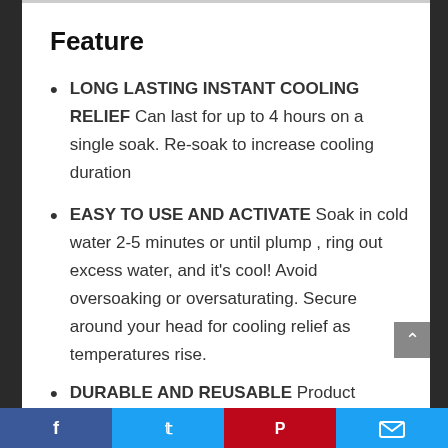Feature
LONG LASTING INSTANT COOLING RELIEF Can last for up to 4 hours on a single soak. Re-soak to increase cooling duration
EASY TO USE AND ACTIVATE Soak in cold water 2-5 minutes or until plump , ring out excess water, and it’s cool! Avoid oversoaking or oversaturating. Secure around your head for cooling relief as temperatures rise.
DURABLE AND REUSABLE Product...